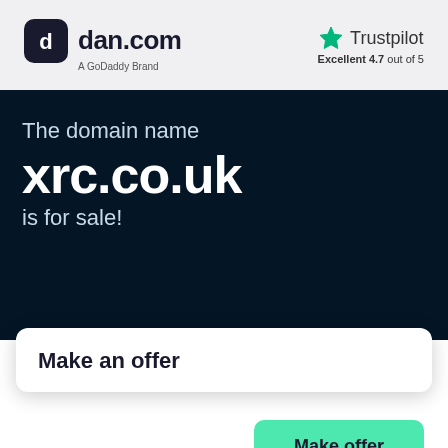[Figure (logo): dan.com logo with GoDaddy Brand subtitle and Trustpilot Excellent 4.7 out of 5 rating in header]
The domain name xrc.co.uk is for sale!
Make an offer
Make offer